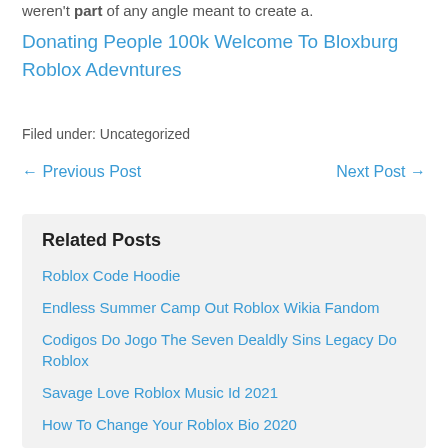weren't part of any angle meant to create a.
Donating People 100k Welcome To Bloxburg Roblox Adevntures
Filed under: Uncategorized
← Previous Post
Next Post →
Related Posts
Roblox Code Hoodie
Endless Summer Camp Out Roblox Wikia Fandom
Codigos Do Jogo The Seven Dealdly Sins Legacy Do Roblox
Savage Love Roblox Music Id 2021
How To Change Your Roblox Bio 2020